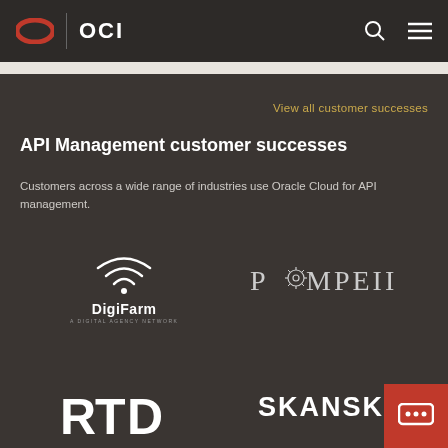OCI
View all customer successes
API Management customer successes
Customers across a wide range of industries use Oracle Cloud for API management.
[Figure (logo): DigiFarm logo with wifi signal arcs above the text]
[Figure (logo): Pompeii logo with stylized text and gear/compass symbol]
[Figure (logo): RTD logo in bold white letters]
[Figure (logo): Skanska logo in bold white capital letters]